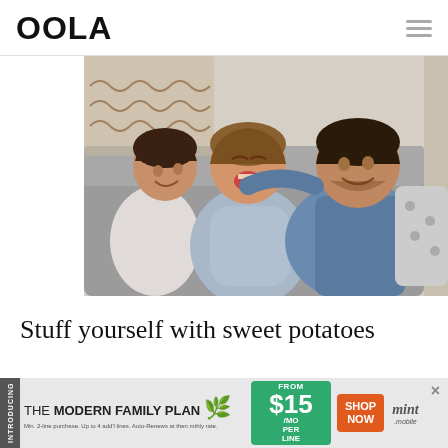OOLA
[Figure (photo): A happy family of three — a young girl, a woman laughing, and a man smiling — sitting together on a couch in a cozy living room.]
Stuff yourself with sweet potatoes this Thanksgiving to fully satisfy
[Figure (infographic): Mint Mobile advertisement banner: 'INTRODUCING THE MODERN FAMILY PLAN FROM $15/MO PER LINE SHOP NOW mint mobile']